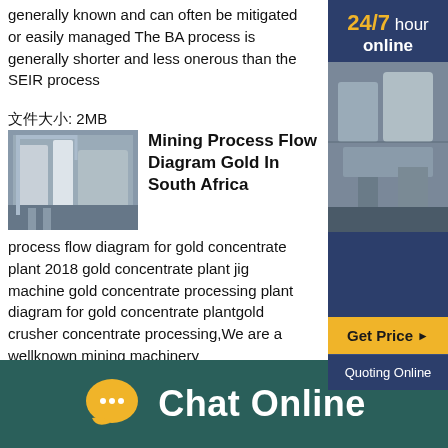generally known and can often be mitigated or easily managed The BA process is generally shorter and less onerous than the SEIR process
文件大小: 2MB
[Figure (photo): Industrial factory floor with large machinery]
Mining Process Flow Diagram Gold In South Africa
process flow diagram for gold concentrate plant 2018 gold concentrate plant jig machine gold concentrate processing diagram for gold concentrate plantgold crusher concentrate processing,We are a wellknown mining machinery companyprocess flow diagram for gold concentrate plant are sold around the world, like India, South Africa and other regions2013 gold
[Figure (photo): Mining equipment / crusher machinery]
Application and Consultation
[Figure (photo): Sidebar: 24/7 hour online with mining photo, Get Price button, Quoting Online button]
Chat Online